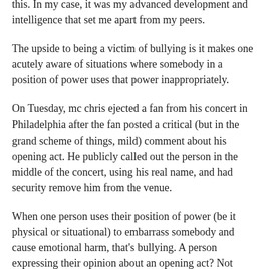this. In my case, it was my advanced development and intelligence that set me apart from my peers.
The upside to being a victim of bullying is it makes one acutely aware of situations where somebody in a position of power uses that power inappropriately.
On Tuesday, mc chris ejected a fan from his concert in Philadelphia after the fan posted a critical (but in the grand scheme of things, mild) comment about his opening act. He publicly called out the person in the middle of the concert, using his real name, and had security remove him from the venue.
When one person uses their position of power (be it physical or situational) to embarrass somebody and cause emotional harm, that's bullying. A person expressing their opinion about an opening act? Not bullying. Calling that person out, in public, in a crowded